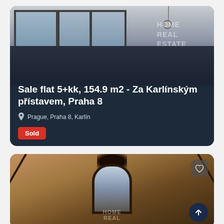[Figure (photo): Interior photo of a modern flat with large black-framed windows looking out over a cityscape. The room has a dark floor and light walls. 'HOME REAL ESTATE' watermark is visible in the upper right area. The lower portion transitions to a dark navy overlay.]
Sale flat 5+kk, 154.9 m2 - Za Karlínským přístavem, Praha 8
Prague, Praha 8, Karlín
Sold
[Figure (photo): Interior photo of an ornate staircase with decorative dark wooden arched framing, warm terracotta/peach toned vaulted ceiling with dark ribs, and a large arched window at the top letting in light. A black chandelier hangs at top. 'HOME REAL' watermark partially visible at bottom.]